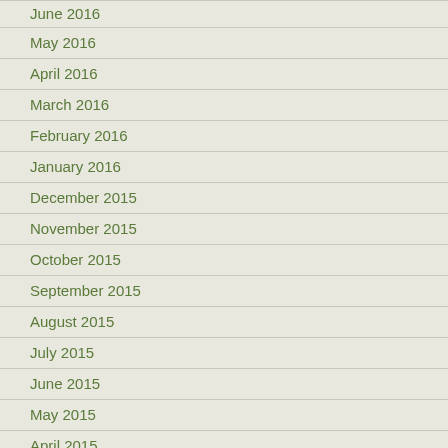June 2016
May 2016
April 2016
March 2016
February 2016
January 2016
December 2015
November 2015
October 2015
September 2015
August 2015
July 2015
June 2015
May 2015
April 2015